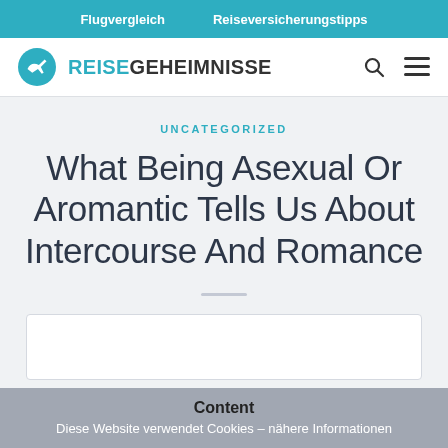Flugvergleich   Reiseversicherungstipps
[Figure (logo): Reisegeheimnisse logo with teal airplane icon and bold text REISEGEHEIMNISSE]
UNCATEGORIZED
What Being Asexual Or Aromantic Tells Us About Intercourse And Romance
Content
Diese Website verwendet Cookies – nähere Informationen